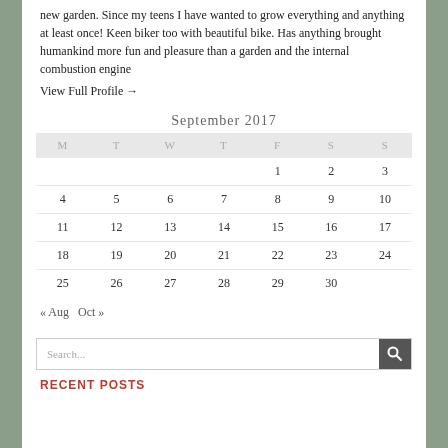new garden. Since my teens I have wanted to grow everything and anything at least once! Keen biker too with beautiful bike. Has anything brought humankind more fun and pleasure than a garden and the internal combustion engine
View Full Profile →
| M | T | W | T | F | S | S |
| --- | --- | --- | --- | --- | --- | --- |
|  |  |  |  | 1 | 2 | 3 |
| 4 | 5 | 6 | 7 | 8 | 9 | 10 |
| 11 | 12 | 13 | 14 | 15 | 16 | 17 |
| 18 | 19 | 20 | 21 | 22 | 23 | 24 |
| 25 | 26 | 27 | 28 | 29 | 30 |  |
« Aug   Oct »
Search...
RECENT POSTS